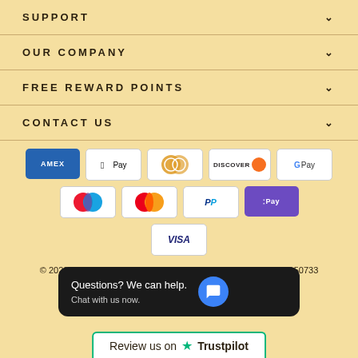SUPPORT
OUR COMPANY
FREE REWARD POINTS
CONTACT US
[Figure (other): Payment method icons: American Express, Apple Pay, Diners Club, Discover, Google Pay, Maestro, Mastercard, PayPal, Shopify Pay, Visa]
© 2022 Little Tots Toys Registered in England and Wales No. 12150733
[Figure (other): Chat widget: 'Questions? We can help. Chat with us now.' with blue chat icon]
[Figure (other): Trustpilot review banner: 'Review us on Trustpilot' with green star]